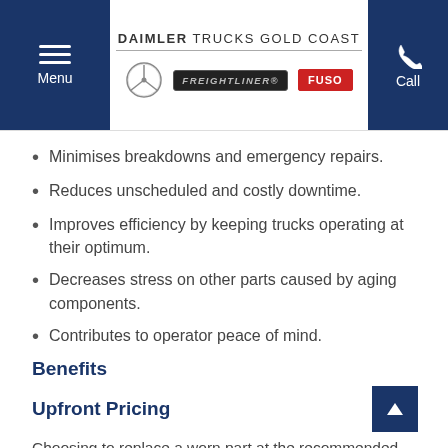DAIMLER TRUCKS GOLD COAST — Menu | Call
Minimises breakdowns and emergency repairs.
Reduces unscheduled and costly downtime.
Improves efficiency by keeping trucks operating at their optimum.
Decreases stress on other parts caused by aging components.
Contributes to operator peace of mind.
Benefits
Upfront Pricing
Choosing to replace a worn part at the recommended time allows our technicians to promptly provide you with a comprehensive price upfront, ensuring optimum cost transparency.